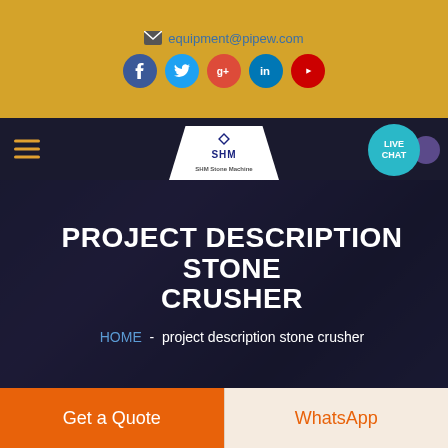equipment@pipew.com
[Figure (screenshot): Social media icons: Facebook (blue), Twitter (cyan), Google+ (red), LinkedIn (blue), YouTube (red) in circular buttons on golden background]
[Figure (logo): SHM logo in white triangular/trapezoid nav bar area with dark navy background, hamburger menu left, live chat bubble right]
PROJECT DESCRIPTION STONE CRUSHER
HOME - project description stone crusher
Get a Quote
WhatsApp